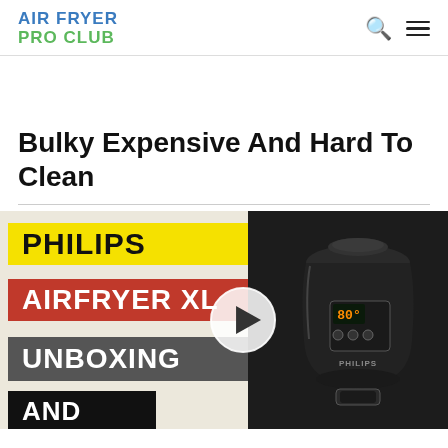AIR FRYER PRO CLUB
Bulky Expensive And Hard To Clean
[Figure (screenshot): Video thumbnail for Philips Airfryer XL Unboxing video, showing text banners 'PHILIPS', 'AIRFRYER XL', 'UNBOXING', 'AND' with a play button overlay and a black Philips air fryer appliance on the right]